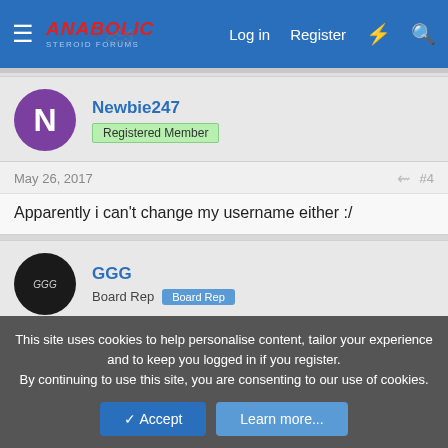Anabolic Steroid Forums — Log in | Register
Newbie247
Registered Member
May 26, 2017 #4
Apparently i can't change my username either :/
GGG
Board Rep  Board Rep
May 26, 2017 #5
welcome to ASF
This site uses cookies to help personalise content, tailor your experience and to keep you logged in if you register.
By continuing to use this site, you are consenting to our use of cookies.